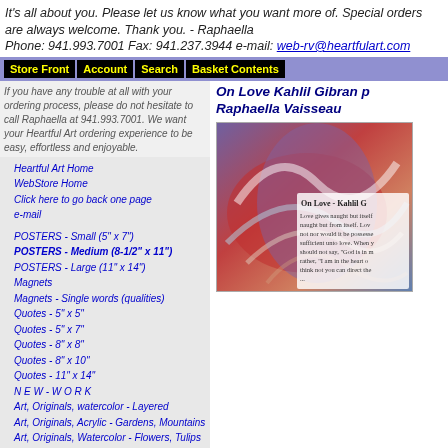It's all about you. Please let us know what you want more of. Special orders are always welcome. Thank you. - Raphaella Phone: 941.993.7001 Fax: 941.237.3944 e-mail: web-rv@heartfulart.com
Store Front | Account | Search | Basket Contents
If you have any trouble at all with your ordering process, please do not hesitate to call Raphaella at 941.993.7001. We want your Heartful Art ordering experience to be easy, effortless and enjoyable.
Heartful Art Home
WebStore Home
Click here to go back one page
e-mail
POSTERS - Small (5" x 7")
POSTERS - Medium (8-1/2" x 11")
POSTERS - Large (11" x 14")
Magnets
Magnets - Single words (qualities)
Quotes - 5" x 5"
Quotes - 5" x 7"
Quotes - 8" x 8"
Quotes - 8" x 10"
Quotes - 11" x 14"
N E W - W O R K
Art, Originals, watercolor - Layered
Art, Originals, Acrylic - Gardens, Mountains
Art, Originals, Watercolor - Flowers, Tulips
Art, Originals - Hearts
Art, Originals - Abstract
Art, Originals - Symbols
Art, Originals - People
ATCs - Artist Trading Cards (ATC)
On Love Kahlil Gibran p... Raphaella Vaisseau
[Figure (illustration): Artwork showing 'On Love - Kahlil G...' with swirling colorful abstract background in reds, blues and browns, with text beginning 'Love gives naught but itself...']